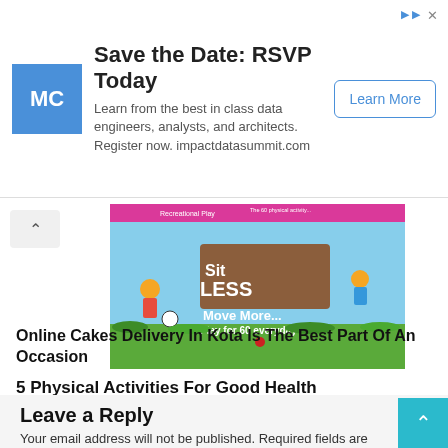[Figure (infographic): Advertisement banner: MC logo in blue square, heading 'Save the Date: RSVP Today', subtext about data engineers/analysts/architects and impactdatasummit.com, 'Learn More' button]
[Figure (illustration): Health campaign image with children playing, text 'Sit LESS, Move More... Play for 60 everyday' on colorful background]
5 Physical Activities For Good Health
Online Cakes Delivery In Kota Is The Best Part Of An Occasion
Leave a Reply
Your email address will not be published. Required fields are marked *